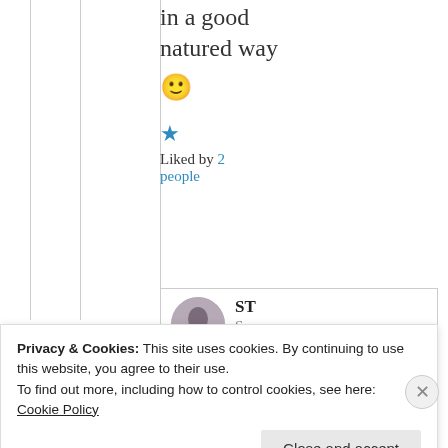in a good natured way 🙂
★ Liked by 2 people
ST
Sep
tem
ber
Privacy & Cookies: This site uses cookies. By continuing to use this website, you agree to their use. To find out more, including how to control cookies, see here: Cookie Policy
Close and accept